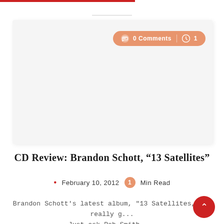[Figure (other): Light gray card/placeholder area with an orange badge showing '0 Comments' and a clock icon with '1']
CD Review: Brandon Schott, ‘13 Satellites”
February 10, 2012  1 Min Read
Brandon Schott's latest album, "13 Satellites," is really g... Just ask Rob Smith ...